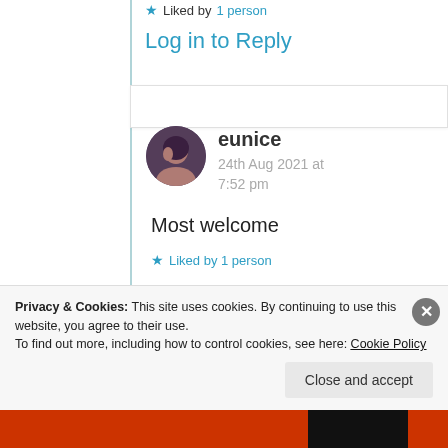★ Liked by 1 person
Log in to Reply
[Figure (photo): Circular avatar photo of user eunice]
eunice
24th Aug 2021 at 7:52 pm
Most welcome
★ Liked by 1 person
Privacy & Cookies: This site uses cookies. By continuing to use this website, you agree to their use.
To find out more, including how to control cookies, see here: Cookie Policy
Close and accept